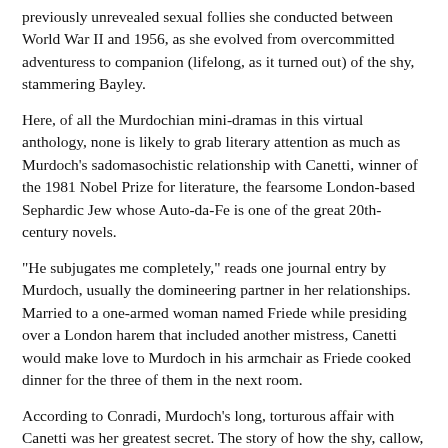previously unrevealed sexual follies she conducted between World War II and 1956, as she evolved from overcommitted adventuress to companion (lifelong, as it turned out) of the shy, stammering Bayley.
Here, of all the Murdochian mini-dramas in this virtual anthology, none is likely to grab literary attention as much as Murdoch's sadomasochistic relationship with Canetti, winner of the 1981 Nobel Prize for literature, the fearsome London-based Sephardic Jew whose Auto-da-Fe is one of the great 20th-century novels.
"He subjugates me completely," reads one journal entry by Murdoch, usually the domineering partner in her relationships. Married to a one-armed woman named Friede while presiding over a London harem that included another mistress, Canetti would make love to Murdoch in his armchair as Friede cooked dinner for the three of them in the next room.
According to Conradi, Murdoch's long, torturous affair with Canetti was her greatest secret. The story of how the shy, callow, six-years-younger Bayley arrived as Murdoch's "improbable rescuer" from the maelstrom is just one among many fine episodes that Conradi pulls off. Ever accommodating toward Murdoch's dalliances with both men and women, Bayley comes across here as in his own memoirs - enormously generous, the partner who made it possible for Murdoch to become what she became.